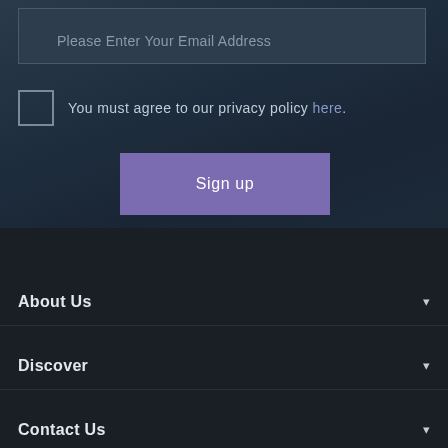Please Enter Your Email Address
You must agree to our privacy policy here.
Sign up
About Us
Discover
Contact Us